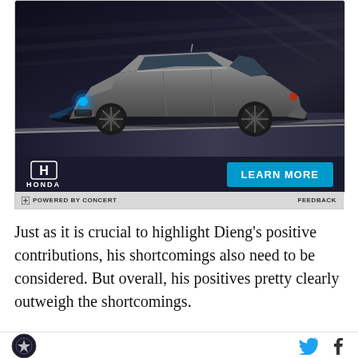[Figure (photo): Honda advertisement showing a gray Honda SUV (CR-V or similar) on a dark road at night with motion-blurred background. Bottom of ad shows Honda logo on left and a blue 'LEARN MORE' button on the right. A gray bar below reads 'POWERED BY CONCERT' on the left and 'FEEDBACK' on the right.]
Just as it is crucial to highlight Dieng’s positive contributions, his shortcomings also need to be considered. But overall, his positives pretty clearly outweigh the shortcomings.
[Figure (logo): Site logo (circular dark badge) on the left, Twitter bird icon and Facebook 'f' icon on the right as social sharing buttons.]